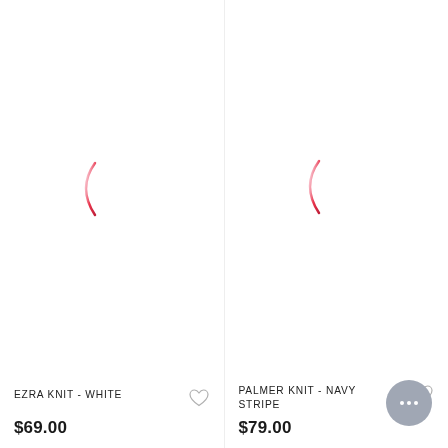[Figure (illustration): Loading spinner / crescent arc in pink-red gradient color, indicating a product image is loading, for the Ezra Knit White product]
EZRA KNIT - WHITE
$69.00
[Figure (illustration): Loading spinner / crescent arc in pink-red gradient color, indicating a product image is loading, for the Palmer Knit Navy Stripe product]
PALMER KNIT - NAVY STRIPE
$79.00